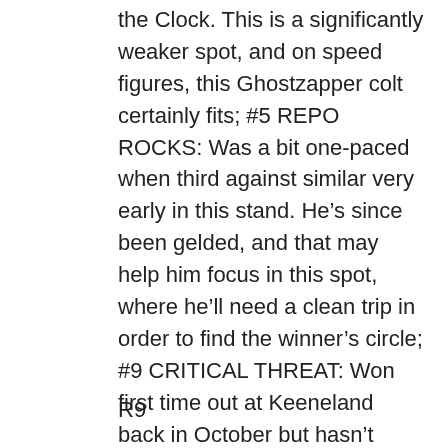the Clock. This is a significantly weaker spot, and on speed figures, this Ghostzapper colt certainly fits; #5 REPO ROCKS: Was a bit one-paced when third against similar very early in this stand. He’s since been gelded, and that may help him focus in this spot, where he’ll need a clean trip in order to find the winner’s circle; #9 CRITICAL THREAT: Won first time out at Keeneland back in October but hasn’t been seen in the afternoon since then. However, Brendan Walsh does great work with horses coming off of long breaks, the Ellis Park works look very fast, and the first-time gelding and first-time Lasix news items cannot be ignored.
R9